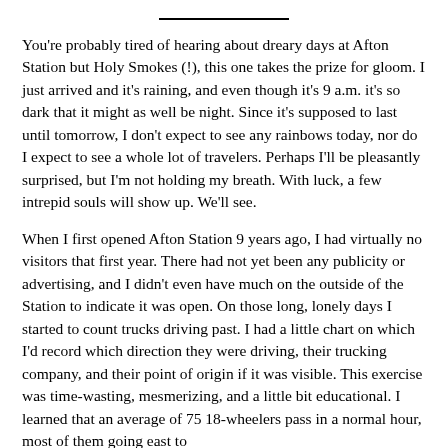You're probably tired of hearing about dreary days at Afton Station but Holy Smokes (!), this one takes the prize for gloom. I just arrived and it's raining, and even though it's 9 a.m. it's so dark that it might as well be night. Since it's supposed to last until tomorrow, I don't expect to see any rainbows today, nor do I expect to see a whole lot of travelers. Perhaps I'll be pleasantly surprised, but I'm not holding my breath. With luck, a few intrepid souls will show up. We'll see.
When I first opened Afton Station 9 years ago, I had virtually no visitors that first year. There had not yet been any publicity or advertising, and I didn't even have much on the outside of the Station to indicate it was open. On those long, lonely days I started to count trucks driving past. I had a little chart on which I'd record which direction they were driving, their trucking company, and their point of origin if it was visible. This exercise was time-wasting, mesmerizing, and a little bit educational. I learned that an average of 75 18-wheelers pass in a normal hour, most of them going east to